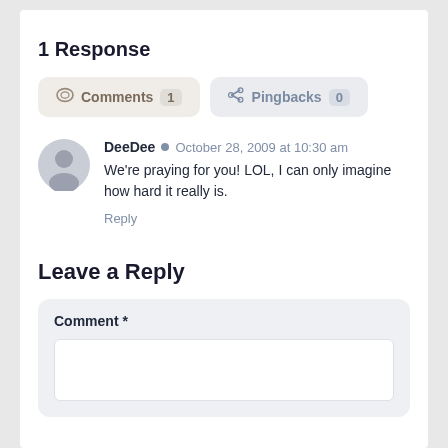1 Response
Comments 1  Pingbacks 0
DeeDee · October 28, 2009 at 10:30 am
We're praying for you! LOL, I can only imagine how hard it really is.
Reply
Leave a Reply
Comment *